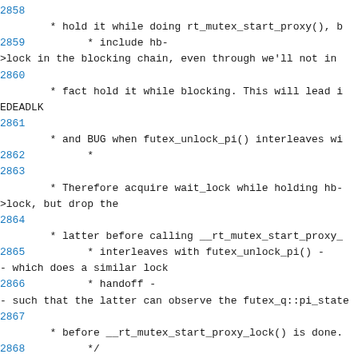Source code listing with line numbers 2858-2870, showing kernel mutex/futex locking code comments and raw_spin_lock_irq call